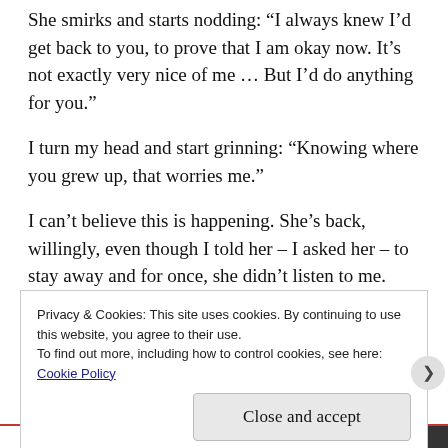She smirks and starts nodding: “I always knew I’d get back to you, to prove that I am okay now. It’s not exactly very nice of me … But I’d do anything for you.”
I turn my head and start grinning: “Knowing where you grew up, that worries me.”
I can’t believe this is happening. She’s back, willingly, even though I told her – I asked her – to stay away and for once, she didn’t listen to me. She’s healed. She came here because she really wanted to. She came back for me because she loves me. Not because I begged her, or
Privacy & Cookies: This site uses cookies. By continuing to use this website, you agree to their use.
To find out more, including how to control cookies, see here:
Cookie Policy
Close and accept